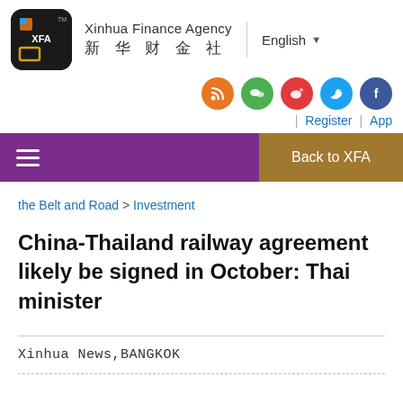[Figure (logo): XFA (Xinhua Finance Agency) logo - black rounded square with gold border and XFA text, alongside Chinese text 新华财金社]
Xinhua Finance Agency 新华财金社 | English
[Figure (infographic): Social media icons: RSS (orange), WeChat (green), Weibo (red), Twitter (blue), Facebook (blue)]
Register | App
≡ Back to XFA
the Belt and Road > Investment
China-Thailand railway agreement likely be signed in October: Thai minister
Xinhua News,BANGKOK